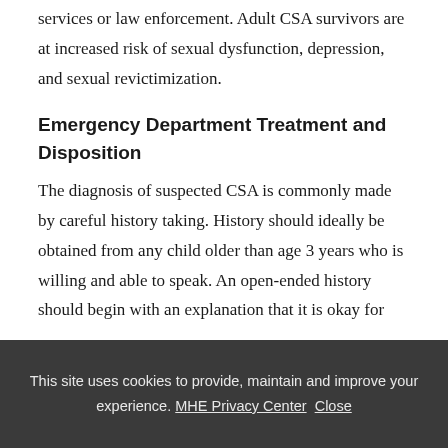services or law enforcement. Adult CSA survivors are at increased risk of sexual dysfunction, depression, and sexual revictimization.
Emergency Department Treatment and Disposition
The diagnosis of suspected CSA is commonly made by careful history taking. History should ideally be obtained from any child older than age 3 years who is willing and able to speak. An open-ended history should begin with an explanation that it is okay for
This site uses cookies to provide, maintain and improve your experience. MHE Privacy Center   Close